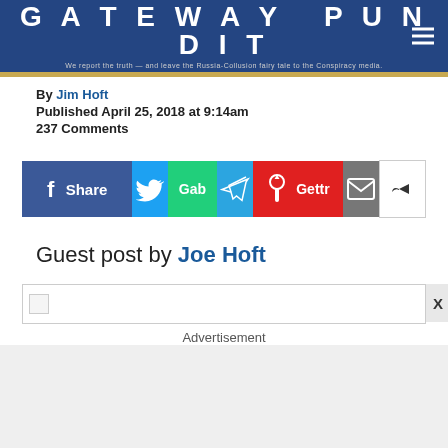GATEWAY PUNDIT
We report the truth — and leave the Russia-Collusion fairy tale to the Conspiracy media.
By Jim Hoft
Published April 25, 2018 at 9:14am
237 Comments
[Figure (infographic): Social share buttons row: Facebook Share, Twitter, Gab, Telegram, Gettr, Email, Share]
Guest post by Joe Hoft
[Figure (other): Broken image placeholder with X close button]
Advertisement